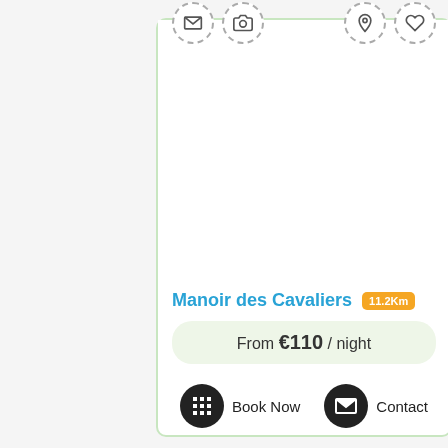[Figure (screenshot): Mobile app UI card for Manoir des Cavaliers property listing. Top card shows icon row (envelope, camera, location pin, heart) with dashed circle borders, a white image placeholder area, property name in blue with orange distance badge, green price bar, and two action buttons (Book Now, Contact). Bottom partial card shows a bedroom photo with nightstand, headboard and pillows.]
Manoir des Cavaliers 11.2Km
From €110 / night
Book Now
Contact